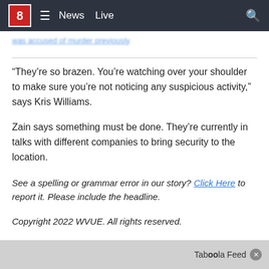8 News Live
“They’re so brazen. You’re watching over your shoulder to make sure you’re not noticing any suspicious activity,” says Kris Williams.
Zain says something must be done. They’re currently in talks with different companies to bring security to the location.
See a spelling or grammar error in our story? Click Here to report it. Please include the headline.
Copyright 2022 WVUE. All rights reserved.
Taboola Feed